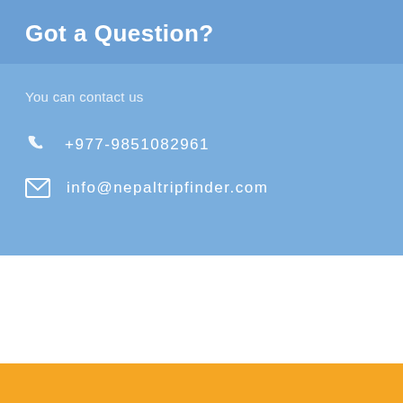Got a Question?
You can contact us
+977-9851082961
info@nepaltripfinder.com
Nepal Trip Finder